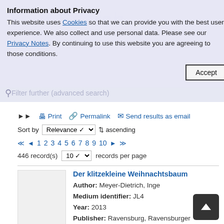Information about Privacy
This website uses Cookies so that we can provide you with the best user experience. We also collect and use personal data. Please see our Privacy Notes. By continuing to use this website you are agreeing to those conditions.
Filter further (advanced search)
Print  Permalink  Send results as email
Sort by Relevance ascending
1 2 3 4 5 6 7 8 9 10
446 record(s) 10 records per page
Der klitzekleine Weihnachtsbaum
Author: Meyer-Dietrich, Inge
Medium identifier: JL4
Year: 2013
Publisher: Ravensburg, Ravensburger Buchverl.
Series: Leserabe